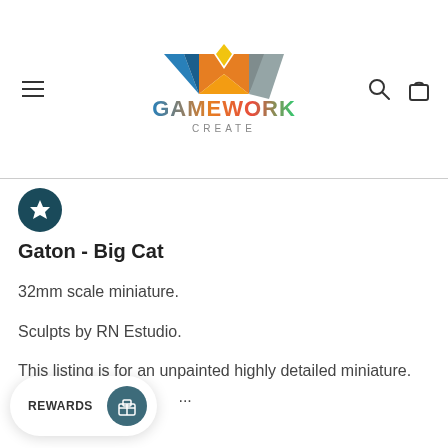[Figure (logo): GameWork Create logo with stylized W icon in blue, gold, and orange gradient colors, with text GAMEWORK in gradient and CREATE below]
Gaton - Big Cat
32mm scale miniature.
Sculpts by RN Estudio.
This listing is for an unpainted highly detailed miniature. Re...